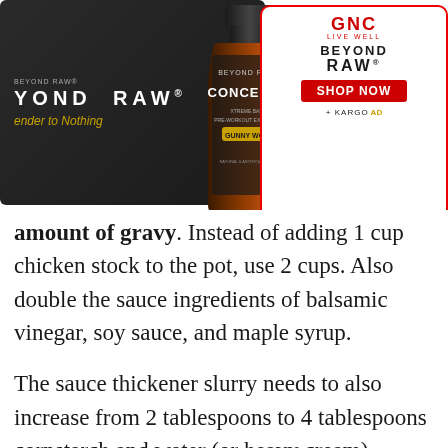[Figure (advertisement): Beyond Raw Concept X product advertisement with dark background showing brand name and tagline 'Surrender to Nothing', alongside a product bottle image]
[Figure (advertisement): GNC Live Well - Beyond Raw advertisement panel with red border, GNC logo in red, Beyond Raw branding, Shop Now button in red, and Kargo AD tag]
amount of gravy. Instead of adding 1 cup chicken stock to the pot, use 2 cups. Also double the sauce ingredients of balsamic vinegar, soy sauce, and maple syrup.
The sauce thickener slurry needs to also increase from 2 tablespoons to 4 tablespoons cornstarch and water (or heavy cream).
NUTRITION